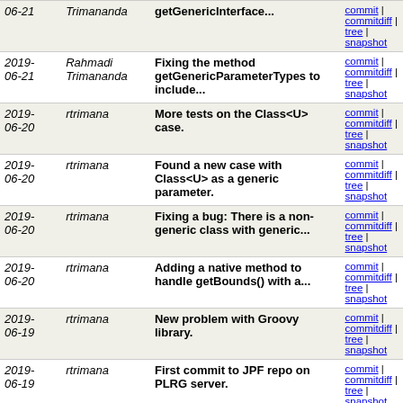| Date | Author | Message | Links |
| --- | --- | --- | --- |
| 2019-06-21 | Rahmadi Trimananda | getGenericInterface... | commit | commitdiff | tree | snapshot |
| 2019-06-21 | Rahmadi Trimananda | Fixing the method getGenericParameterTypes to include... | commit | commitdiff | tree | snapshot |
| 2019-06-20 | rtrimana | More tests on the Class<U> case. | commit | commitdiff | tree | snapshot |
| 2019-06-20 | rtrimana | Found a new case with Class<U> as a generic parameter. | commit | commitdiff | tree | snapshot |
| 2019-06-20 | rtrimana | Fixing a bug: There is a non-generic class with generic... | commit | commitdiff | tree | snapshot |
| 2019-06-20 | rtrimana | Adding a native method to handle getBounds() with a... | commit | commitdiff | tree | snapshot |
| 2019-06-19 | rtrimana | New problem with Groovy library. | commit | commitdiff | tree | snapshot |
| 2019-06-19 | rtrimana | First commit to JPF repo on PLRG server. | commit | commitdiff | tree | snapshot |
| 2019-06-19 | rtrimana | First commit to PLRG Git repo. | commit | commitdiff | tree | snapshot |
| 2019-06-19 | Rahmadi Trimananda | Testing for all 3 new method implementations. | commit | commitdiff | tree | snapshot |
| 2019-06-19 | Rahmadi | A proper implementation of | commit | commitdiff |